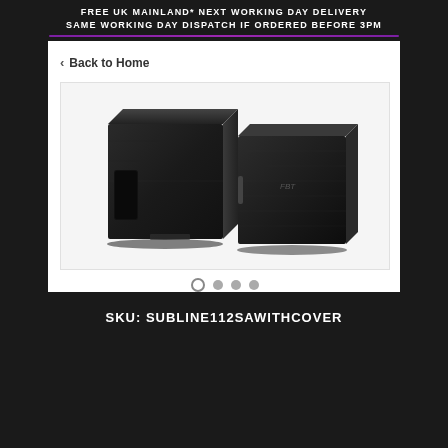FREE UK MAINLAND* NEXT WORKING DAY DELIVERY
SAME WORKING DAY DISPATCH IF ORDERED BEFORE 3PM
< Back to Home
[Figure (photo): Two black subwoofer speakers side by side — one uncovered showing wood cab with port, one with a black protective cover with carry handles.]
SKU: SUBLINE112SAWITHCOVER